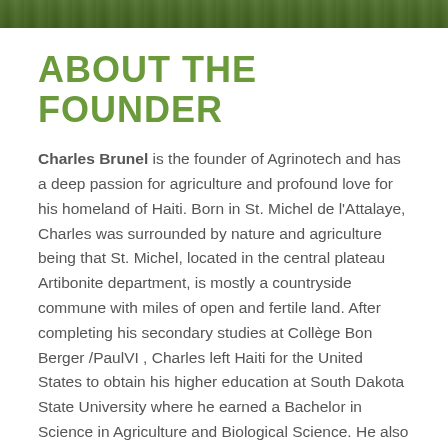[Figure (photo): Cropped top portion of a photo showing green agricultural/nature scene]
ABOUT THE FOUNDER
Charles Brunel is the founder of Agrinotech and has a deep passion for agriculture and profound love for his homeland of Haiti. Born in St. Michel de l'Attalaye, Charles was surrounded by nature and agriculture being that St. Michel, located in the central plateau Artibonite department, is mostly a countryside commune with miles of open and fertile land. After completing his secondary studies at Collège Bon Berger /PaulVI , Charles left Haiti for the United States to obtain his higher education at South Dakota State University where he earned a Bachelor in Science in Agriculture and Biological Science. He also has traveled abroad, spent some time in China, and can communicate in several